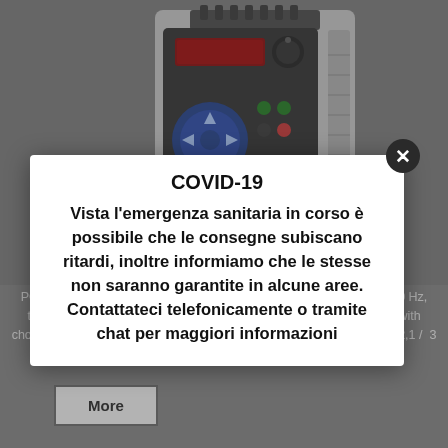[Figure (photo): Variable frequency drive / inverter device (PowerFlex series) photographed against a grey background. The unit has a dark control panel with blue D-pad buttons, red LED display, and a rotary knob. The body is light grey with ventilation fins on the right side.]
POWER: 0,75 kW CURRENT: 1,17 mA VOLTAGE: 400...480V 50/60 Hz, three-phase, without filter EMC, without chopper of braking (...104 with chopper of braking INVERTER OUTPUT (HD) [A]: Cont.= 1,5 / 60 s.= 2,1 / 3 s.= 2,8
More
COVID-19
Vista l'emergenza sanitaria in corso è possibile che le consegne subiscano ritardi, inoltre informiamo che le stesse non saranno garantite in alcune aree. Contattateci telefonicamente o tramite chat per maggiori informazioni